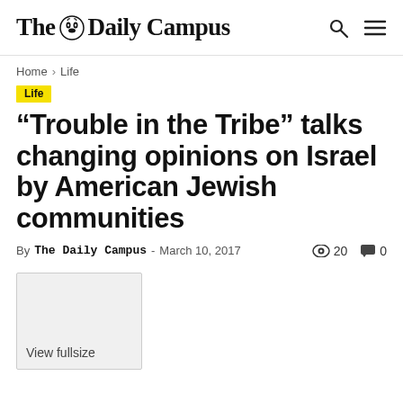The Daily Campus
Home › Life
Life
“Trouble in the Tribe” talks changing opinions on Israel by American Jewish communities
By The Daily Campus - March 10, 2017 · 20 views · 0 comments
[Figure (photo): Image placeholder with 'View fullsize' label, light gray rectangle]